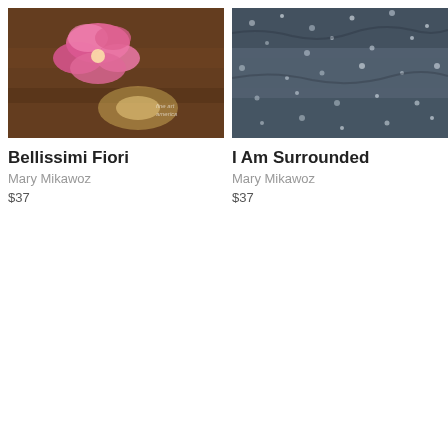[Figure (photo): Photo of pink flower on a wooden/dark surface with 'fine art america' watermark in corner]
Bellissimi Fiori
Mary Mikawoz
$37
[Figure (photo): Photo of blue-grey rocky/textured surface, possibly water or stone]
I Am Surrounded
Mary Mikawoz
$37